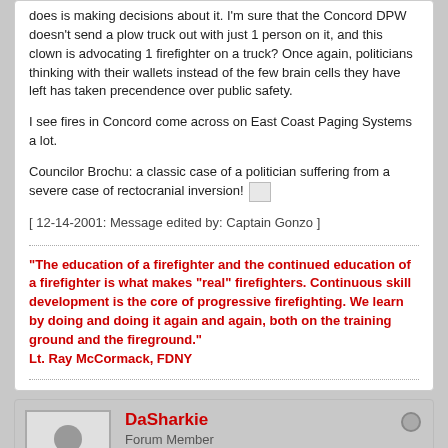does is making decisions about it. I'm sure that the Concord DPW doesn't send a plow truck out with just 1 person on it, and this clown is advocating 1 firefighter on a truck? Once again, politicians thinking with their wallets instead of the few brain cells they have left has taken precendence over public safety.
I see fires in Concord come across on East Coast Paging Systems a lot.
Councilor Brochu: a classic case of a politician suffering from a severe case of rectocranial inversion! [image]
[ 12-14-2001: Message edited by: Captain Gonzo ]
"The education of a firefighter and the continued education of a firefighter is what makes "real" firefighters. Continuous skill development is the core of progressive firefighting. We learn by doing and doing it again and again, both on the training ground and the fireground."
Lt. Ray McCormack, FDNY
DaSharkie
Forum Member
Join Date: Jun 2000  Posts: 4713